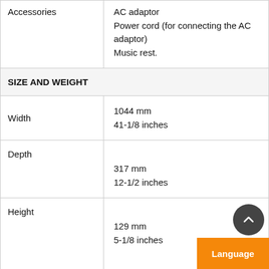|  |  |
| --- | --- |
| Accessories | AC adaptor
Power cord (for connecting the AC adaptor)
Music rest. |
| SIZE AND WEIGHT |  |
| Width | 1044 mm
41-1/8 inches |
| Depth | 317 mm
12-1/2 inches |
| Height | 129 mm
5-1/8 inches |